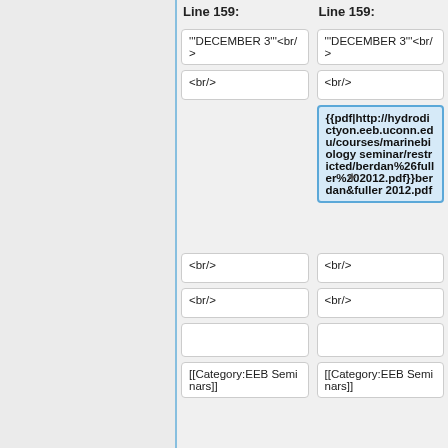Line 159:
Line 159:
"'DECEMBER 3"'<br/>
"'DECEMBER 3"'<br/>
<br/>
<br/>
{{pdf|http://hydrodictyon.eeb.uconn.edu/courses/marinebiology seminar/restricted/berdan%26fuller%202012.pdf}}berdan&fuller2012.pdf
<br/>
<br/>
<br/>
<br/>
[[Category:EEB Seminars]]
[[Category:EEB Seminars]]